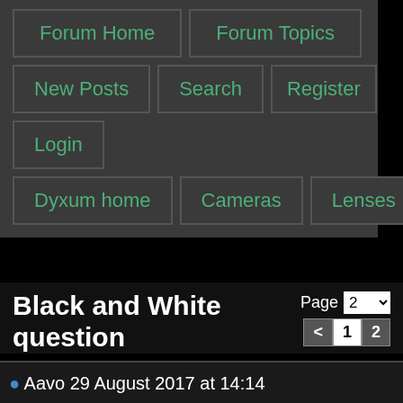[Figure (screenshot): Forum navigation buttons: Forum Home, Forum Topics, New Posts, Search, Register, Login, Dyxum home, Cameras, Lenses]
Black and White question
Page 2 < 1 2
Aavo 29 August 2017 at 14:14
Quote  Reply
+1